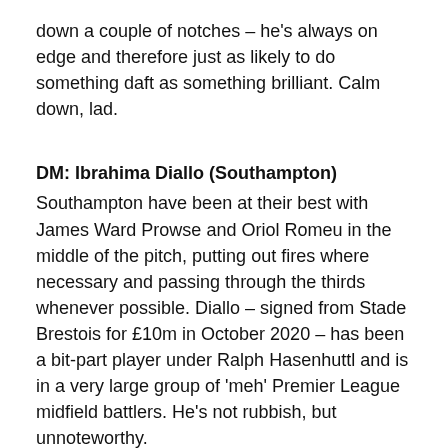down a couple of notches – he's always on edge and therefore just as likely to do something daft as something brilliant. Calm down, lad.
DM: Ibrahima Diallo (Southampton)
Southampton have been at their best with James Ward Prowse and Oriol Romeu in the middle of the pitch, putting out fires where necessary and passing through the thirds whenever possible. Diallo – signed from Stade Brestois for £10m in October 2020 – has been a bit-part player under Ralph Hasenhuttl and is in a very large group of 'meh' Premier League midfield battlers. He's not rubbish, but unnoteworthy.
CM: Adam Forshaw (Leeds)